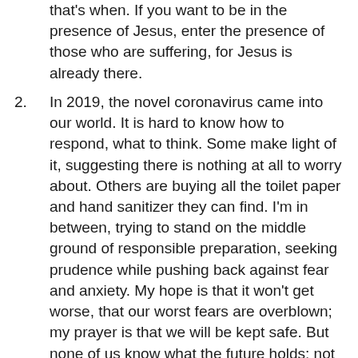that's when. If you want to be in the presence of Jesus, enter the presence of those who are suffering, for Jesus is already there.
In 2019, the novel coronavirus came into our world. It is hard to know how to respond, what to think. Some make light of it, suggesting there is nothing at all to worry about. Others are buying all the toilet paper and hand sanitizer they can find. I'm in between, trying to stand on the middle ground of responsible preparation, seeking prudence while pushing back against fear and anxiety. My hope is that it won't get worse, that our worst fears are overblown; my prayer is that we will be kept safe. But none of us know what the future holds; not regarding this virus, not regarding anything else. Pretend otherwise as we might, we live in a world of intertwined uncertainties. Illnesses emerge. Stock markets tumble. Electoral processes pull us this way